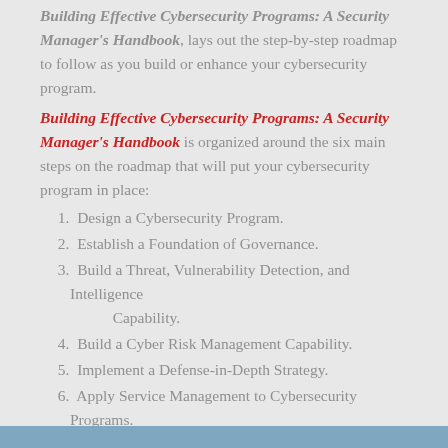Building Effective Cybersecurity Programs: A Security Manager's Handbook, lays out the step-by-step roadmap to follow as you build or enhance your cybersecurity program.
Building Effective Cybersecurity Programs: A Security Manager's Handbook is organized around the six main steps on the roadmap that will put your cybersecurity program in place:
1. Design a Cybersecurity Program.
2. Establish a Foundation of Governance.
3. Build a Threat, Vulnerability Detection, and Intelligence Capability.
4. Build a Cyber Risk Management Capability.
5. Implement a Defense-in-Depth Strategy.
6. Apply Service Management to Cybersecurity Programs.